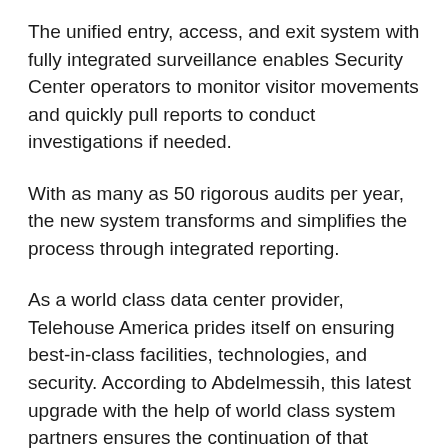The unified entry, access, and exit system with fully integrated surveillance enables Security Center operators to monitor visitor movements and quickly pull reports to conduct investigations if needed.
With as many as 50 rigorous audits per year, the new system transforms and simplifies the process through integrated reporting.
As a world class data center provider, Telehouse America prides itself on ensuring best-in-class facilities, technologies, and security. According to Abdelmessih, this latest upgrade with the help of world class system partners ensures the continuation of that legacy for Telehouse customers and staff: “Since implementing the Security Center unified platform, securing our site and managing our visitors has become much easier. Having that unified security view ensures our staff can see what’s